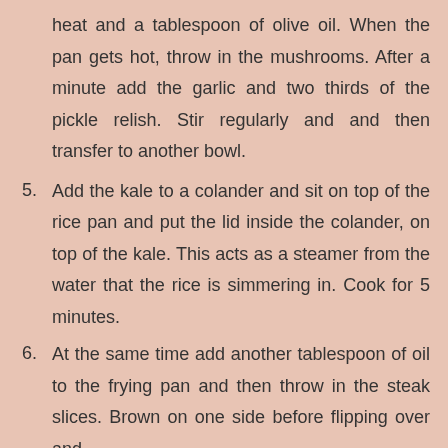heat and a tablespoon of olive oil. When the pan gets hot, throw in the mushrooms. After a minute add the garlic and two thirds of the pickle relish. Stir regularly and and then transfer to another bowl.
5. Add the kale to a colander and sit on top of the rice pan and put the lid inside the colander, on top of the kale. This acts as a steamer from the water that the rice is simmering in. Cook for 5 minutes.
6. At the same time add another tablespoon of oil to the frying pan and then throw in the steak slices. Brown on one side before flipping over and browning the other.